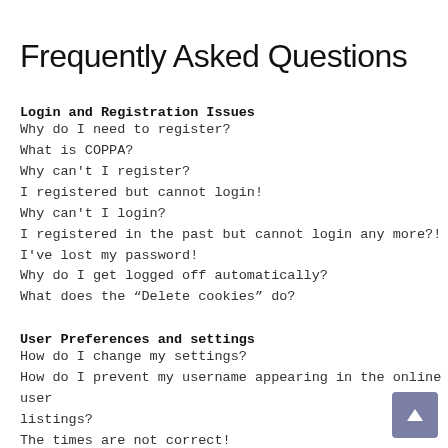Frequently Asked Questions
Login and Registration Issues
Why do I need to register?
What is COPPA?
Why can't I register?
I registered but cannot login!
Why can't I login?
I registered in the past but cannot login any more?!
I've lost my password!
Why do I get logged off automatically?
What does the “Delete cookies” do?
User Preferences and settings
How do I change my settings?
How do I prevent my username appearing in the online user listings?
The times are not correct!